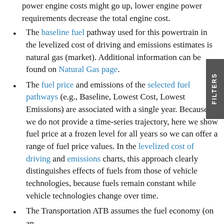power engine costs might go up, lower engine power requirements decrease the total engine cost.
The baseline fuel pathway used for this powertrain in the levelized cost of driving and emissions estimates is natural gas (market). Additional information can be found on Natural Gas page.
The fuel price and emissions of the selected fuel pathways (e.g., Baseline, Lowest Cost, Lowest Emissions) are associated with a single year. Because we do not provide a time-series trajectory, here we show fuel price at a frozen level for all years so we can offer a range of fuel price values. In the levelized cost of driving and emissions charts, this approach clearly distinguishes effects of fuels from those of vehicle technologies, because fuels remain constant while vehicle technologies change over time.
The Transportation ATB assumes the fuel economy (on an